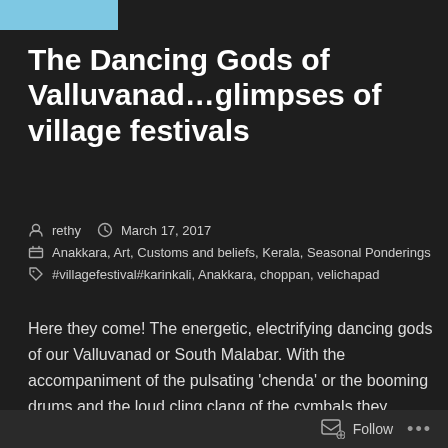The Dancing Gods of Valluvanad…glimpses of village festivals
rethy   March 17, 2017   Anakkara, Art, Customs and beliefs, Kerala, Seasonal Ponderings   #villagefestival#karinkali, Anakkara, choppan, velichapad
Here they come! The energetic, electrifying dancing gods of our Valluvanad or South Malabar. With the accompaniment of the pulsating 'chenda' or the booming drums and the loud cling clang of the cymbals they shake the earth with their frenzied steps. Our culturally rich and vibrant Valluvanad resonates with festival tunes during the Malayalam months Makaram, Kumbham and Meenam. Soon after the paddy harvest the empty stubble fields
Follow